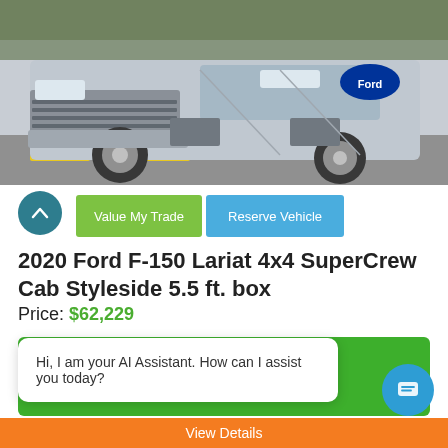[Figure (photo): Silver Ford F-150 truck front view in a parking lot]
Value My Trade | Reserve Vehicle (buttons)
2020 Ford F-150 Lariat 4x4 SuperCrew Cab Styleside 5.5 ft. box
Price: $62,229
My Payment Options
Hi, I am your AI Assistant. How can I assist you today?
View Details